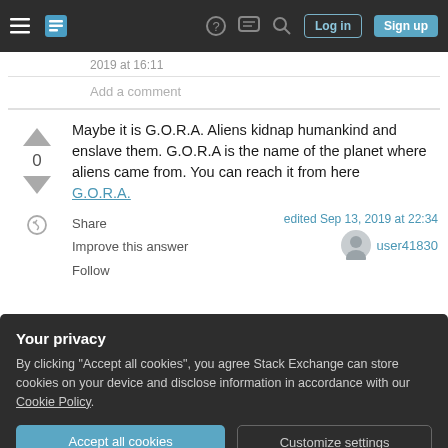Stack Exchange navigation bar with hamburger menu, logo, help, chat, search icons, Log in and Sign up buttons
2019 at 16:11
Add a comment
Maybe it is G.O.R.A. Aliens kidnap humankind and enslave them. G.O.R.A is the name of the planet where aliens came from. You can reach it from here G.O.R.A.
Share
Improve this answer
Follow
edited Sep 13, 2019 at 22:34
user41830
Your privacy
By clicking "Accept all cookies", you agree Stack Exchange can store cookies on your device and disclose information in accordance with our Cookie Policy.
Accept all cookies
Customize settings
Your Answer